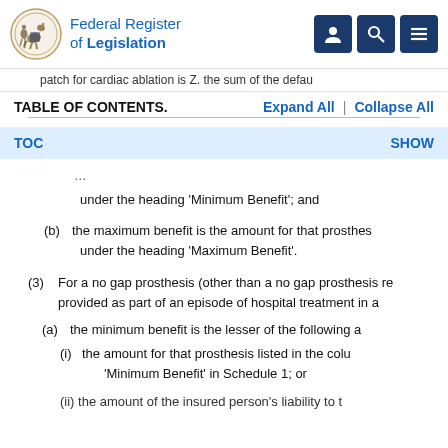Federal Register of Legislation
patch for cardiac ablation is Z. the sum of the defau
TABLE OF CONTENTS.    Expand All  |  Collapse All
TOC    SHOW
under the heading ‘Minimum Benefit’; and
(b)  the maximum benefit is the amount for that prosthesis under the heading ‘Maximum Benefit’.
(3)  For a no gap prosthesis (other than a no gap prosthesis re provided as part of an episode of hospital treatment in a
(a)  the minimum benefit is the lesser of the following a
(i)  the amount for that prosthesis listed in the column ‘Minimum Benefit’ in Schedule 1; or
(ii)  the amount of the insured person’s liability to t